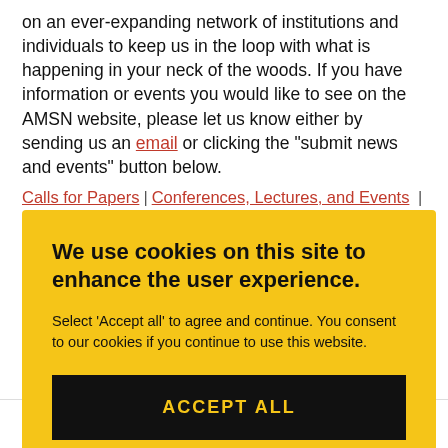on an ever-expanding network of institutions and individuals to keep us in the loop with what is happening in your neck of the woods. If you have information or events you would like to see on the AMSN website, please let us know either by sending us an email or clicking the "submit news and events" button below.
Calls for Papers | Conferences, Lectures, and Events |
We use cookies on this site to enhance the user experience. Select 'Accept all' to agree and continue. You consent to our cookies if you continue to use this website. ACCEPT ALL
Email Address * (required)